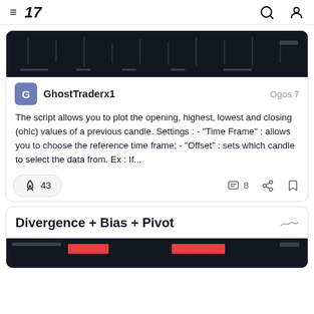TradingView navigation bar with hamburger menu, logo '17', search icon, and user icon
[Figure (screenshot): Dark candlestick chart preview thumbnail]
GhostTraderx1   Ogos 7
The script allows you to plot the opening, highest, lowest and closing (ohlc) values of a previous candle. Settings : - "Time Frame" : allows you to choose the reference time frame; - "Offset" : sets which candle to select the data from. Ex : If...
43  8
Divergence + Bias + Pivot
[Figure (screenshot): Dark chart preview for Divergence + Bias + Pivot script with red bars]